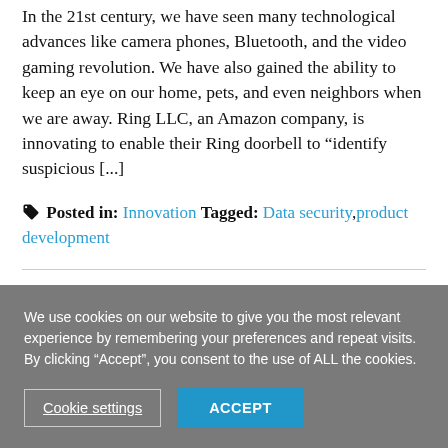In the 21st century, we have seen many technological advances like camera phones, Bluetooth, and the video gaming revolution. We have also gained the ability to keep an eye on our home, pets, and even neighbors when we are away. Ring LLC, an Amazon company, is innovating to enable their Ring doorbell to "identify suspicious [...]
🏷 Posted in: Innovation Tagged: Data security, product development
We use cookies on our website to give you the most relevant experience by remembering your preferences and repeat visits. By clicking "Accept", you consent to the use of ALL the cookies.